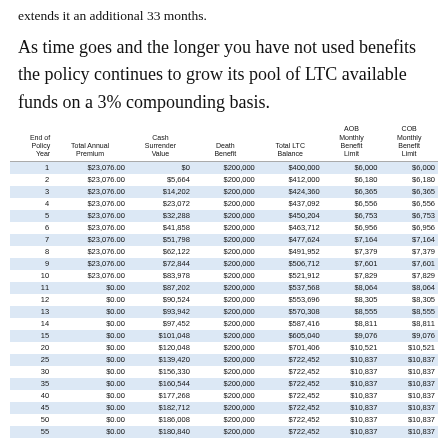extends it an additional 33 months.
As time goes and the longer you have not used benefits the policy continues to grow its pool of LTC available funds on a 3% compounding basis.
| End of Policy Year | Total Annual Premium | Cash Surrender Value | Death Benefit | Total LTC Balance | AOB Monthly Benefit Limit | COB Monthly Benefit Limit |
| --- | --- | --- | --- | --- | --- | --- |
| 1 | $23,076.00 | $0 | $200,000 | $400,000 | $6,000 | $6,000 |
| 2 | $23,076.00 | $5,664 | $200,000 | $412,000 | $6,180 | $6,180 |
| 3 | $23,076.00 | $14,202 | $200,000 | $424,360 | $6,365 | $6,365 |
| 4 | $23,076.00 | $23,072 | $200,000 | $437,092 | $6,556 | $6,556 |
| 5 | $23,076.00 | $32,288 | $200,000 | $450,204 | $6,753 | $6,753 |
| 6 | $23,076.00 | $41,858 | $200,000 | $463,712 | $6,956 | $6,956 |
| 7 | $23,076.00 | $51,798 | $200,000 | $477,624 | $7,164 | $7,164 |
| 8 | $23,076.00 | $62,122 | $200,000 | $491,952 | $7,379 | $7,379 |
| 9 | $23,076.00 | $72,844 | $200,000 | $506,712 | $7,601 | $7,601 |
| 10 | $23,076.00 | $83,978 | $200,000 | $521,912 | $7,829 | $7,829 |
| 11 | $0.00 | $87,202 | $200,000 | $537,568 | $8,064 | $8,064 |
| 12 | $0.00 | $90,524 | $200,000 | $553,696 | $8,305 | $8,305 |
| 13 | $0.00 | $93,942 | $200,000 | $570,308 | $8,555 | $8,555 |
| 14 | $0.00 | $97,452 | $200,000 | $587,416 | $8,811 | $8,811 |
| 15 | $0.00 | $101,048 | $200,000 | $605,040 | $9,076 | $9,076 |
| 20 | $0.00 | $120,048 | $200,000 | $701,406 | $10,521 | $10,521 |
| 25 | $0.00 | $139,420 | $200,000 | $722,452 | $10,837 | $10,837 |
| 30 | $0.00 | $156,330 | $200,000 | $722,452 | $10,837 | $10,837 |
| 35 | $0.00 | $160,544 | $200,000 | $722,452 | $10,837 | $10,837 |
| 40 | $0.00 | $177,268 | $200,000 | $722,452 | $10,837 | $10,837 |
| 45 | $0.00 | $182,712 | $200,000 | $722,452 | $10,837 | $10,837 |
| 50 | $0.00 | $186,008 | $200,000 | $722,452 | $10,837 | $10,837 |
| 55 | $0.00 | $180,840 | $200,000 | $722,452 | $10,837 | $10,837 |